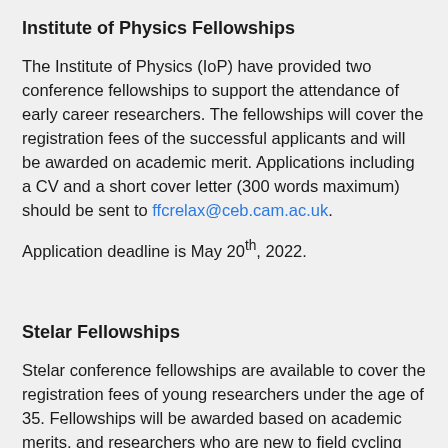Institute of Physics Fellowships
The Institute of Physics (IoP) have provided two conference fellowships to support the attendance of early career researchers. The fellowships will cover the registration fees of the successful applicants and will be awarded on academic merit. Applications including a CV and a short cover letter (300 words maximum) should be sent to ffcrelax@ceb.cam.ac.uk.
Application deadline is May 20th, 2022.
Stelar Fellowships
Stelar conference fellowships are available to cover the registration fees of young researchers under the age of 35. Fellowships will be awarded based on academic merits, and researchers who are new to field cycling are strongly encouraged to apply. Applications including a CV